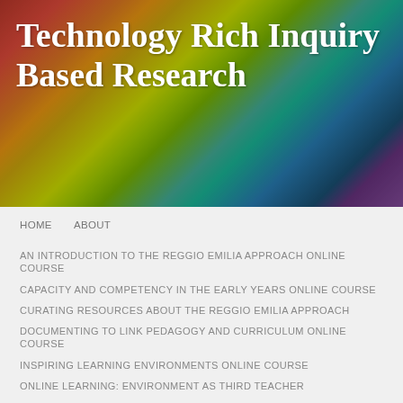[Figure (photo): Colorful artistic background image with bright yellows, greens, reds and blues]
Technology Rich Inquiry Based Research
HOME   ABOUT
AN INTRODUCTION TO THE REGGIO EMILIA APPROACH ONLINE COURSE
CAPACITY AND COMPETENCY IN THE EARLY YEARS ONLINE COURSE
CURATING RESOURCES ABOUT THE REGGIO EMILIA APPROACH
DOCUMENTING TO LINK PEDAGOGY AND CURRICULUM ONLINE COURSE
INSPIRING LEARNING ENVIRONMENTS ONLINE COURSE
ONLINE LEARNING: ENVIRONMENT AS THIRD TEACHER
ONLINE LEARNING: TEA, TEAM, TEACH
PLAY-BASED LEARNING RESOURCES